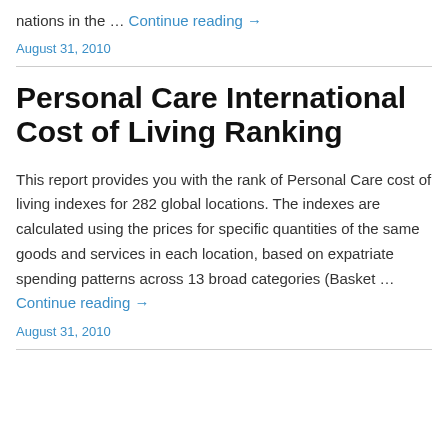nations in the … Continue reading →
August 31, 2010
Personal Care International Cost of Living Ranking
This report provides you with the rank of Personal Care cost of living indexes for 282 global locations. The indexes are calculated using the prices for specific quantities of the same goods and services in each location, based on expatriate spending patterns across 13 broad categories (Basket … Continue reading →
August 31, 2010